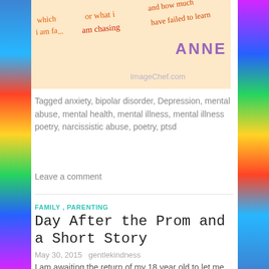[Figure (illustration): Banner image with handwritten-style text on peach/cream background reading 'which i am fa', 'or what i am chasing', 'and how much have failed to learn', with 'ANNE' in purple and 'ImageChef.com' watermark]
Tagged anxiety, bipolar disorder, Depression, mental abuse, mental health, mental illness, mental illness poetry, narcissistic abuse, poetry, ptsd
Leave a comment
FAMILY, PARENTING
Day After the Prom and a Short Story
May 30, 2015   gentlekindness
I am awaiting the return of my 18 year old to let me